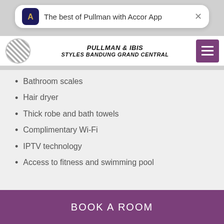The best of Pullman with Accor App
PULLMAN & IBIS
STYLES BANDUNG GRAND CENTRAL
Bathroom scales
Hair dryer
Thick robe and bath towels
Complimentary Wi-Fi
IPTV technology
Access to fitness and swimming pool
BOOK A ROOM